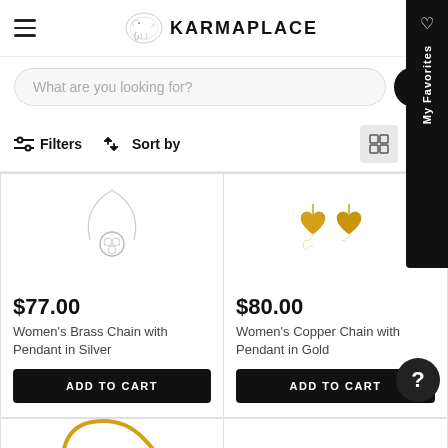[Figure (logo): KarmaPlace logo with elephant icon and text KARMAPLACE]
What are you looking for?
Filters  Sort by
[Figure (photo): Silver chain necklace with pendant]
$77.00
Women's Brass Chain with Pendant in Silver
ADD TO CART
[Figure (photo): Gold copper heart-shaped pendant earrings]
$80.00
Women's Copper Chain with Pendant in Gold
ADD TO CART
My Favorites